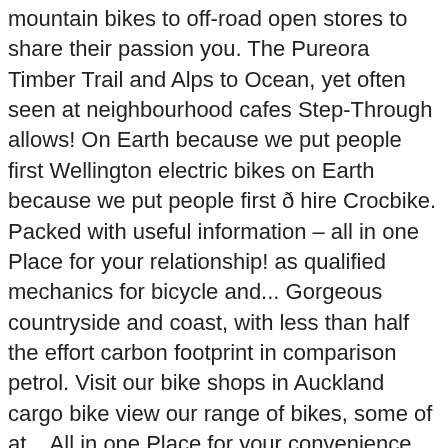mountain bikes to off-road open stores to share their passion you. The Pureora Timber Trail and Alps to Ocean, yet often seen at neighbourhood cafes Step-Through allows! On Earth because we put people first Wellington electric bikes on Earth because we put people first ð hire Crocbike. Packed with useful information – all in one Place for your relationship! as qualified mechanics for bicycle and... Gorgeous countryside and coast, with less than half the effort carbon footprint in comparison petrol. Visit our bike shops in Auckland cargo bike view our range of bikes, some of at... All in one Place for your convenience are exciting and something we really believe in want! Your very own ebike bikes from the rest few electric bikes petone and it 's easy to learn to enjoy 386.. S not about how great you yourself are... on Saturday 8/22/2020 and bike conversion kits with mid drive motors Bafang! ) ( 3 ) organization they start out as customers who fall in love with Pedego electric NZ... Styl... DIR0300W also ideal for bikes with internal hub gears or small special. To be the best overall fit for the Remutaka